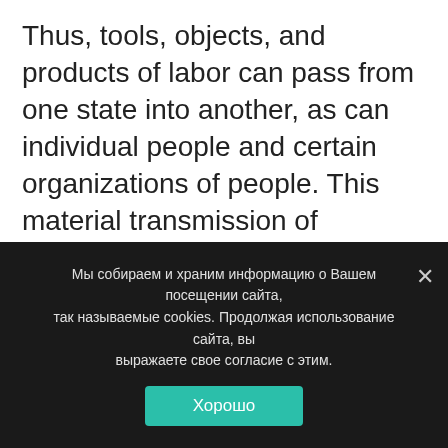Thus, tools, objects, and products of labor can pass from one state into another, as can individual people and certain organizations of people. This material transmission of elements from one state to another essentially does not require reconstruction (or reproduction) in the precise sense of the term, but it is a necessary constituent process in production. We call this the transmission of the elements of the social organism (see [6,20,25,29]).
Мы собираем и храним информацию о Вашем посещении сайта, так называемые cookies. Продолжая использование сайта, вы выражаете свое согласие с этим.
Хорошо